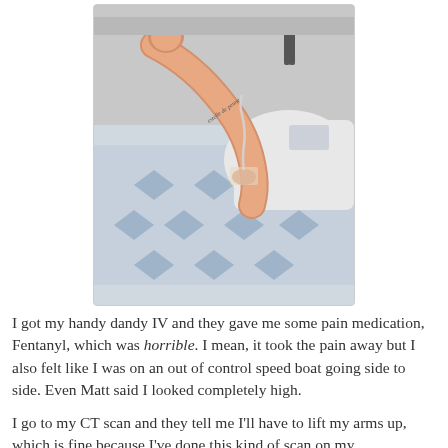[Figure (photo): A photo of a person's arm with an IV inserted, resting on a hospital bed with blue diamond-patterned bedding. A chair is visible in the background. The arm has a small tattoo.]
I got my handy dandy IV and they gave me some pain medication, Fentanyl, which was horrible. I mean, it took the pain away but I also felt like I was on an out of control speed boat going side to side. Even Matt said I looked completely high.
I go to my CT scan and they tell me I'll have to lift my arms up, which is fine because I've done this kind of scan on my